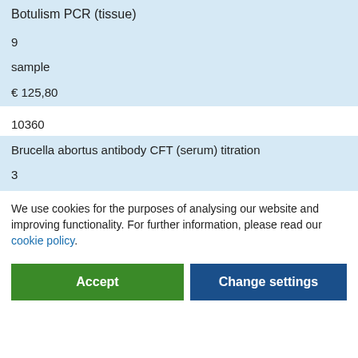Botulism PCR (tissue)
9
sample
€ 125,80
10360
Brucella abortus antibody CFT (serum) titration
3
We use cookies for the purposes of analysing our website and improving functionality. For further information, please read our cookie policy.
Accept
Change settings